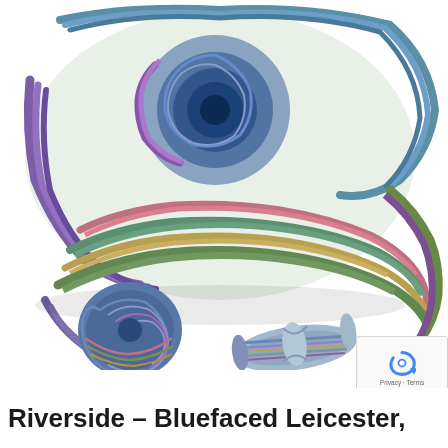[Figure (photo): A colorful hand-dyed yarn skein in rainbow colors including blue, purple, green, pink, and gold, shown from above on a white background. Below it are two smaller yarn samples: a small wound cake/ball and a small twisted skein, both showing the same multicolor colorway called Riverside.]
Riverside – Bluefaced Leicester,